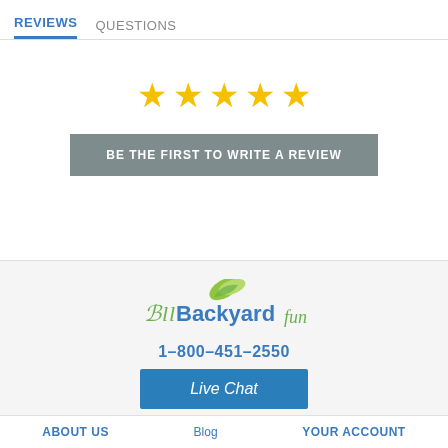REVIEWS   QUESTIONS
[Figure (other): Five gold stars rating display]
BE THE FIRST TO WRITE A REVIEW
[Figure (logo): AllBackyardFun logo with green leaf icon and stylized text, phone number 1-800-451-2550, Live Chat button]
ABOUT US   Blog   YOUR ACCOUNT